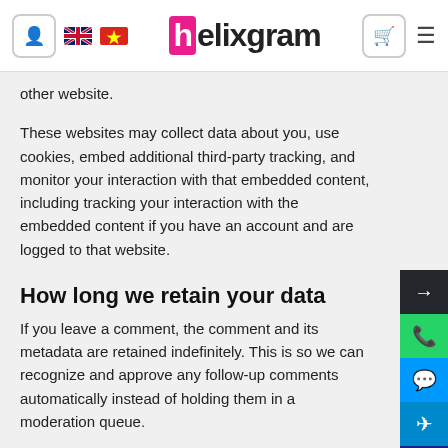helixgram
other website.
These websites may collect data about you, use cookies, embed additional third-party tracking, and monitor your interaction with that embedded content, including tracking your interaction with the embedded content if you have an account and are logged to that website.
How long we retain your data
If you leave a comment, the comment and its metadata are retained indefinitely. This is so we can recognize and approve any follow-up comments automatically instead of holding them in a moderation queue.
For users that register on our website (if any), we also store the personal information they provide in their user profile. All users can see, edit, or delete their personal information at any time (except they cannot change their username). Website